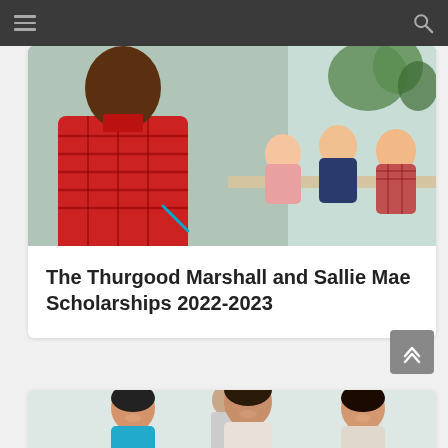Navigation bar with hamburger menu and search icon
[Figure (photo): Man in red plaid shirt standing in foreground, group of students studying at a table in the background near a window with plants]
The Thurgood Marshall and Sallie Mae Scholarships 2022-2023
[Figure (photo): Group of smiling people including women with dark hair, one wearing a teal top, standing together in a bright indoor setting]